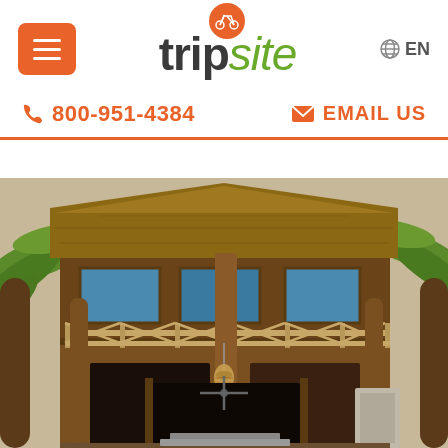[Figure (logo): Tripsite logo with bicycle icon, orange circle, bold 'trip' and italic green 'site']
800-951-4384
EMAIL US
[Figure (photo): Tropical wooden two-story lodge/bungalow with bamboo railings, thatched roof, palm trees, open ground floor entrance with hanging lantern]